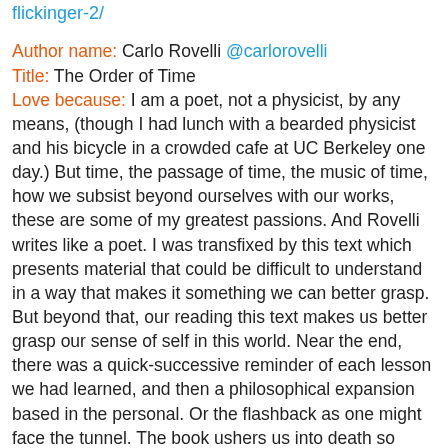flickinger-2/
Author name: Carlo Rovelli @carlorovelli
Title: The Order of Time
Love because: I am a poet, not a physicist, by any means, (though I had lunch with a bearded physicist and his bicycle in a crowded cafe at UC Berkeley one day.) But time, the passage of time, the music of time, how we subsist beyond ourselves with our works, these are some of my greatest passions. And Rovelli writes like a poet. I was transfixed by this text which presents material that could be difficult to understand in a way that makes it something we can better grasp. But beyond that, our reading this text makes us better grasp our sense of self in this world. Near the end, there was a quick-successive reminder of each lesson we had learned, and then a philosophical expansion based in the personal. Or the flashback as one might face the tunnel. The book ushers us into death so gently, one hardly realizes they've passed through not just a set of markers of new knowledge, but the experience of letting that knowledge float outside of you as something you can grasp if you wish or let meander beside you, gently. It's a fullness, but also a lightness. It's a